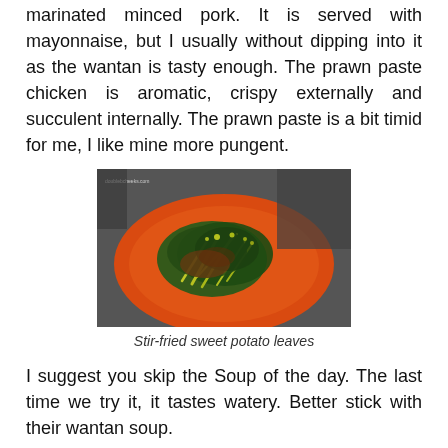marinated minced pork. It is served with mayonnaise, but I usually without dipping into it as the wantan is tasty enough. The prawn paste chicken is aromatic, crispy externally and succulent internally. The prawn paste is a bit timid for me, I like mine more pungent.
[Figure (photo): A photo of stir-fried sweet potato leaves served on an orange/red plate, with a watermark reading doublebcheeks.com in the top-left corner.]
Stir-fried sweet potato leaves
I suggest you skip the Soup of the day. The last time we try it, it tastes watery. Better stick with their wantan soup.